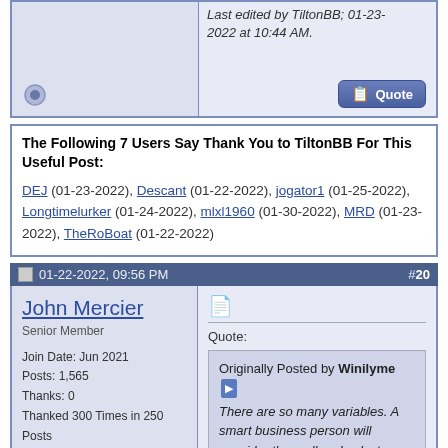Last edited by TiltonBB; 01-23-2022 at 10:44 AM.
The Following 7 Users Say Thank You to TiltonBB For This Useful Post:
DEJ (01-23-2022), Descant (01-22-2022), jogator1 (01-25-2022), Longtimelurker (01-24-2022), mlxl1960 (01-30-2022), MRD (01-23-2022), TheRoBoat (01-22-2022)
01-22-2022, 09:56 PM  #20
John Mercier
Senior Member
Join Date: Jun 2021
Posts: 1,565
Thanks: 0
Thanked 300 Times in 250 Posts
Quote: Originally Posted by Winilyme — There are so many variables. A smart business person will consider them all and select a rate reflective of the market less the risks including those associated with being perceived as someone who's gouging. But I bet a